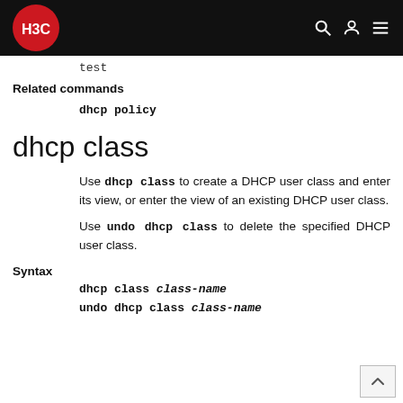H3C logo and navigation header
test
Related commands
dhcp policy
dhcp class
Use dhcp class to create a DHCP user class and enter its view, or enter the view of an existing DHCP user class.
Use undo dhcp class to delete the specified DHCP user class.
Syntax
dhcp class class-name
undo dhcp class class-name